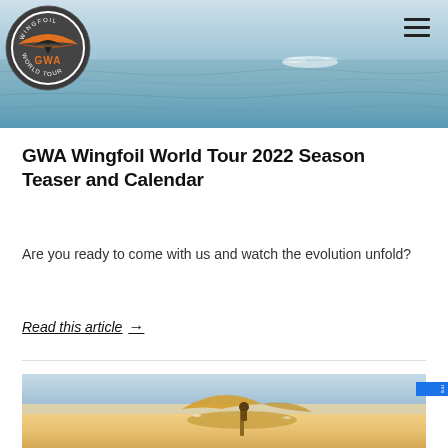[Figure (photo): Ocean water surface photo used as hero banner at top of page]
[Figure (logo): GWA Wingfoil World Tour circular logo with orange and dark grey colors]
GWA Wingfoil World Tour 2022 Season Teaser and Calendar
Are you ready to come with us and watch the evolution unfold?
Read this article →
[Figure (photo): Golden/sandy toned wingfoil action photo at beach, bottom of page]